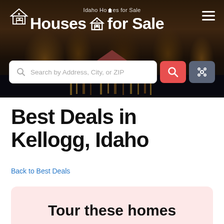[Figure (screenshot): Website hero banner for 'Idaho Homes for Sale – Houses for Sale' with dark forest/lake background photo, house icon logo, hamburger menu icon, and a search bar with red search button and grey settings button]
Best Deals in Kellogg, Idaho
Back to Best Deals
Tour these homes